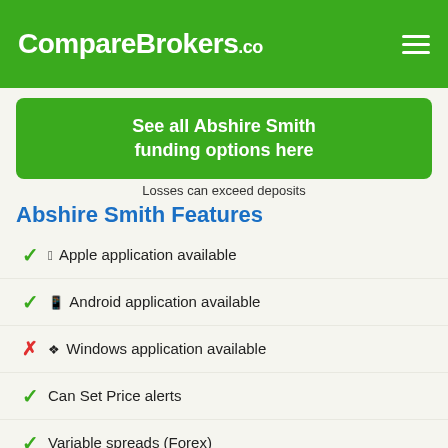CompareBrokers.co
See all Abshire Smith funding options here
Losses can exceed deposits
Abshire Smith Features
Apple application available
Android application available
Windows application available
Can Set Price alerts
Variable spreads (Forex)
Scalping trading
Hedge trading
Stop loss orders